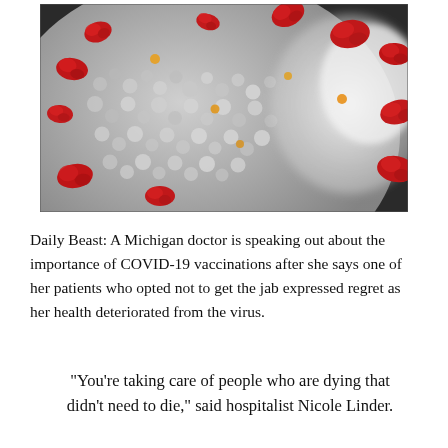[Figure (photo): Close-up microscope image of coronavirus particles — grey bumpy spherical surface with red spike proteins and small orange details, partial white blurred element on right side, dark grey background.]
Daily Beast: A Michigan doctor is speaking out about the importance of COVID-19 vaccinations after she says one of her patients who opted not to get the jab expressed regret as her health deteriorated from the virus.
"You're taking care of people who are dying that didn't need to die," said hospitalist Nicole Linder.